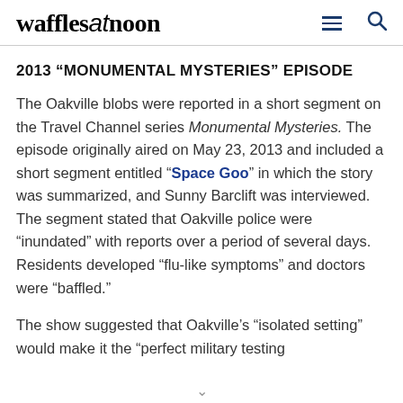wafflesatnoon
2013 “MONUMENTAL MYSTERIES” EPISODE
The Oakville blobs were reported in a short segment on the Travel Channel series Monumental Mysteries. The episode originally aired on May 23, 2013 and included a short segment entitled “Space Goo” in which the story was summarized, and Sunny Barclift was interviewed. The segment stated that Oakville police were “inundated” with reports over a period of several days. Residents developed “flu-like symptoms” and doctors were “baffled.”
The show suggested that Oakville’s “isolated setting” would make it the “perfect military testing